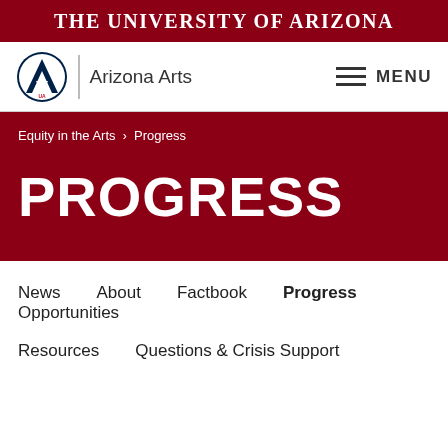The University of Arizona
[Figure (logo): University of Arizona 'A' logo with Arizona Arts text and vertical divider]
MENU
Equity in the Arts > Progress
PROGRESS
News   About   Factbook   Progress   Opportunities
Resources   Questions & Crisis Support